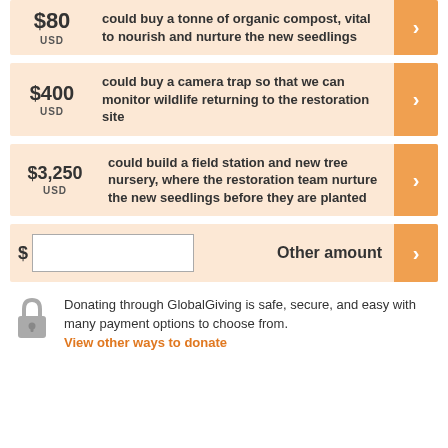$80 USD — could buy a tonne of organic compost, vital to nourish and nurture the new seedlings
$400 USD — could buy a camera trap so that we can monitor wildlife returning to the restoration site
$3,250 USD — could build a field station and new tree nursery, where the restoration team nurture the new seedlings before they are planted
$ Other amount
Donating through GlobalGiving is safe, secure, and easy with many payment options to choose from. View other ways to donate